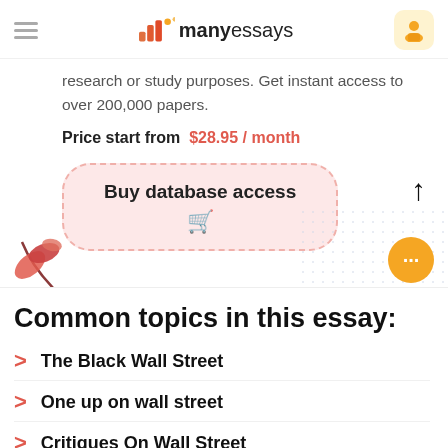manyessays
research or study purposes. Get instant access to over 200,000 papers.
Price start from $28.95 / month
Buy database access
Common topics in this essay:
The Black Wall Street
One up on wall street
Critiques On Wall Street